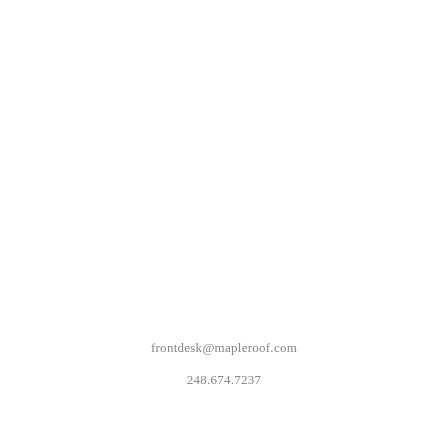frontdesk@mapleroof.com
248.674.7237